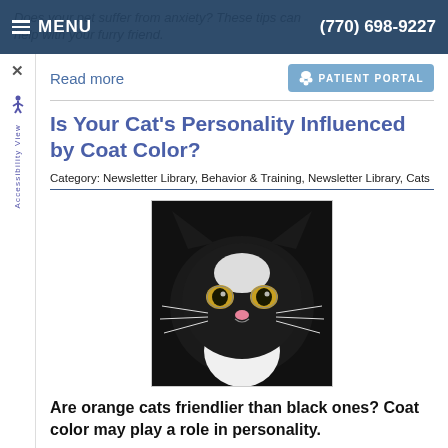Does your pet suffer from anxiety? These tips can help with your furry friend. | MENU | (770) 698-9227
Read more
[Figure (screenshot): Patient Portal button with paw icon]
Is Your Cat's Personality Influenced by Coat Color?
Category: Newsletter Library, Behavior & Training, Newsletter Library, Cats
[Figure (photo): Black and white cat facing camera with yellow-green eyes and pink nose]
Are orange cats friendlier than black ones? Coat color may play a role in personality.